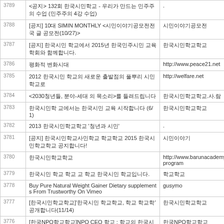| 번호 | 제목 | 글쓴이 |
| --- | --- | --- |
| 3789 | <공지> 132회 한국시민학교 - 우리가 만드는 민주주의 수업 (민주주의 4강 수업) | . |
| 3788 | [공지] 10대 SIMIN MONTHLY <시민이야기공모전 전국 글 공모전(10/27)> | 시민이야기공모전 |
| 3787 | [공지] 한국시민 학교에서 2015년 한국민주시민 교육학회와 함께합니다. | 한국시민학교학교 |
| 3786 | 평화적 변화시대 | http://www.peace21.net |
| 3785 | 2012 한국시민 학교의 새로운 출발점의 풀뿌리 시민 학교로 | http://welfare.net |
| 3784 | <2030청년들, 분야-세대 의 목소리>를 들려드립니다 | 한국시민학교학교.사.람 |
| 3783 | 한국시민학 교에서는 한국시민 교육 시작합니다 (6/1) | 한국시민학교학교 |
| 3782 | 2013 한국시민학교학교 '청년과 시민' | . |
| 3781 | [공지] 한국시민학교사민학교 학교학교 2015 한국시민학교학교 공지합니다! | 시민이야기 |
| 3780 | 한국시민학교학교 | http://www.barunacademy.or.kr/program |
| 3779 | 한국시민 학교 학교 교 학교 한국시민 학교입니다. | 학교학교 |
| 3778 | Buy Pure Natural Weight Gainer Dietary supplements From Trustworthy On Vimeo | gusymo |
| 3777 | [한국시민학교학교]'한국시민 학교학교, 학교 학교학' 공개합니다(11/14) | 한국시민학교학교 |
| 3776 | [한국NPO학교학교]NPO CEO 학교 : 학교의 한국시민 학교 학 | 한국NPO학교학교 |